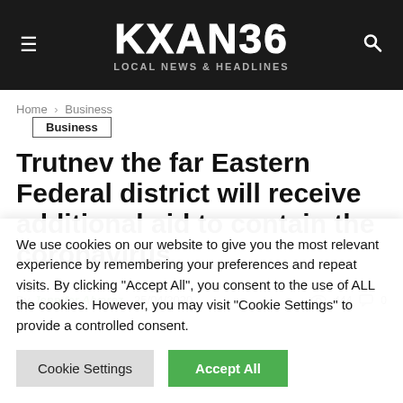KXAN36 LOCAL NEWS & HEADLINES
Home > Business
Business
Trutnev the far Eastern Federal district will receive additional aid to contain the coronavirus
By Jennifer Alvarez - 25/04/2020  444  0
We use cookies on our website to give you the most relevant experience by remembering your preferences and repeat visits. By clicking "Accept All", you consent to the use of ALL the cookies. However, you may visit "Cookie Settings" to provide a controlled consent.